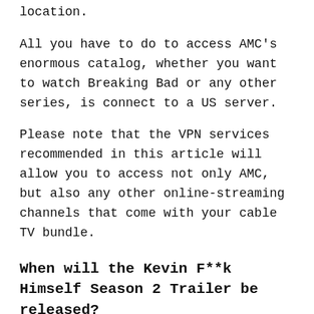location.
All you have to do to access AMC's enormous catalog, whether you want to watch Breaking Bad or any other series, is connect to a US server.
Please note that the VPN services recommended in this article will allow you to access not only AMC, but also any other online-streaming channels that come with your cable TV bundle.
When will the Kevin F**k Himself Season 2 Trailer be released?
The second season of the sitcom has yet to be released. However, it may do so after the program airs on June 20, 2022. Fans may watch the first season promo and episodes on AMC in the meanwhile. A comparable comedy is also available on the streaming network, which fans may enjoy. Among the various shows available on AMC are Mad Men, Lodge 49, and